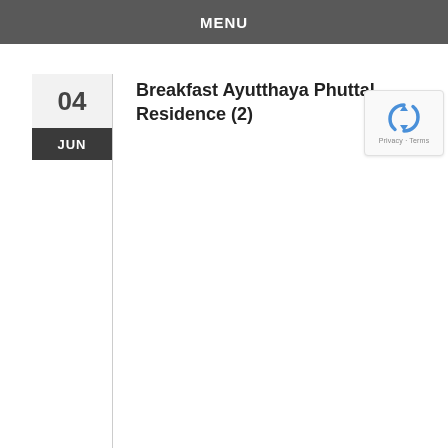MENU
04 JUN
Breakfast Ayutthaya Phuttal Residence (2)
[Figure (logo): reCAPTCHA badge with recycle-arrow icon and Privacy - Terms text]